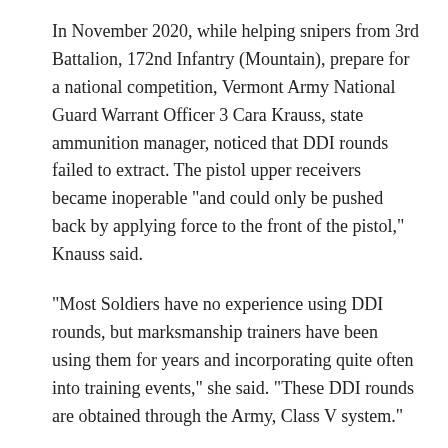In November 2020, while helping snipers from 3rd Battalion, 172nd Infantry (Mountain), prepare for a national competition, Vermont Army National Guard Warrant Officer 3 Cara Krauss, state ammunition manager, noticed that DDI rounds failed to extract. The pistol upper receivers became inoperable "and could only be pushed back by applying force to the front of the pistol," Knauss said.
"Most Soldiers have no experience using DDI rounds, but marksmanship trainers have been using them for years and incorporating quite often into training events," she said. "These DDI rounds are obtained through the Army, Class V system."
Unsure why the DDI rounds did not extract, Krauss notified Vermont Army National Guard Staff Sgt.